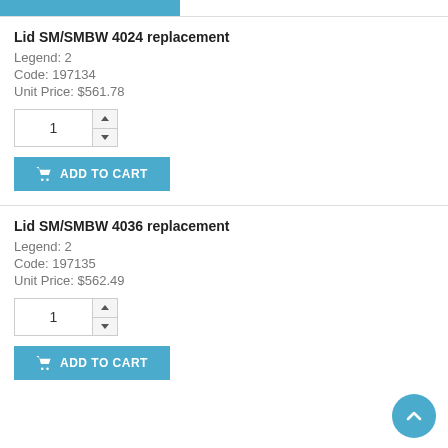Lid SM/SMBW 4024 replacement
Legend: 2
Code: 197134
Unit Price: $561.78
Lid SM/SMBW 4036 replacement
Legend: 2
Code: 197135
Unit Price: $562.49